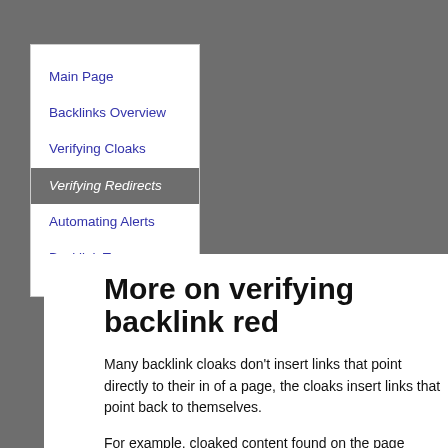Main Page
Backlinks Overview
Verifying Cloaks
Verifying Redirects
Automating Alerts
Backlink Taxonomy
More on verifying backlink red
Many backlink cloaks don't insert links that point directly to their in of a page, the cloaks insert links that point back to themselves.
For example, cloaked content found on the page http://www.g back to itself :
<a href="http://www.gatech.edu/welcome/">Canadian Ge